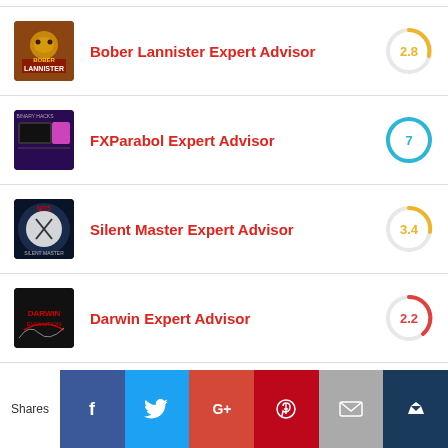Bober Lannister Expert Advisor
FXParabol Expert Advisor
Silent Master Expert Advisor
Darwin Expert Advisor
Automic Trader Expert Avisor
[Figure (infographic): Social share buttons: Facebook, Twitter, Google+, Pinterest, Email, Crown/bookmark icon with Shares label]